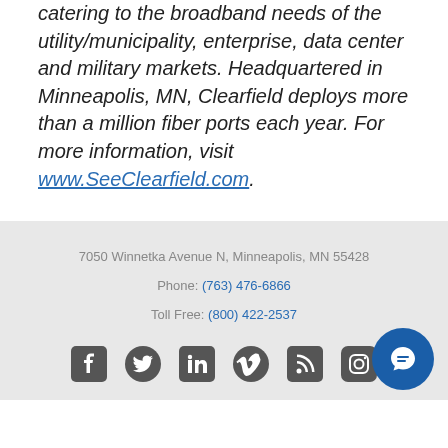catering to the broadband needs of the utility/municipality, enterprise, data center and military markets. Headquartered in Minneapolis, MN, Clearfield deploys more than a million fiber ports each year. For more information, visit www.SeeClearfield.com.
7050 Winnetka Avenue N, Minneapolis, MN 55428
Phone: (763) 476-6866
Toll Free: (800) 422-2537